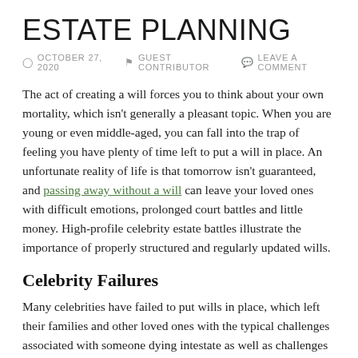ESTATE PLANNING
OCTOBER 27, 2020  GUEST CONTRIBUTOR  LEAVE A COMMENT
The act of creating a will forces you to think about your own mortality, which isn't generally a pleasant topic. When you are young or even middle-aged, you can fall into the trap of feeling you have plenty of time left to put a will in place. An unfortunate reality of life is that tomorrow isn't guaranteed, and passing away without a will can leave your loved ones with difficult emotions, prolonged court battles and little money. High-profile celebrity estate battles illustrate the importance of properly structured and regularly updated wills.
Celebrity Failures
Many celebrities have failed to put wills in place, which left their families and other loved ones with the typical challenges associated with someone dying intestate as well as challenges